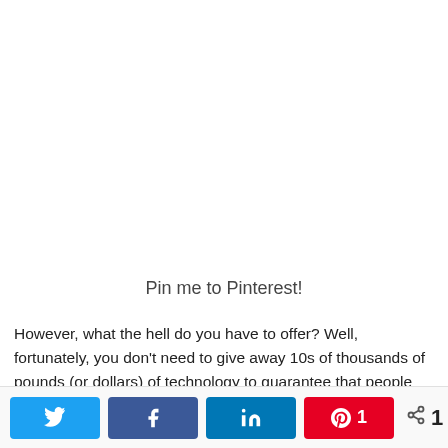Pin me to Pinterest!
However, what the hell do you have to offer? Well, fortunately, you don't need to give away 10s of thousands of pounds (or dollars) of technology to guarantee that people will enter your giveaway. There are plenty of options of very cheap things you
[Figure (other): Social sharing bar with Twitter, Facebook, LinkedIn, Pinterest (with count 1) buttons and a total share count of 1 SHARES]